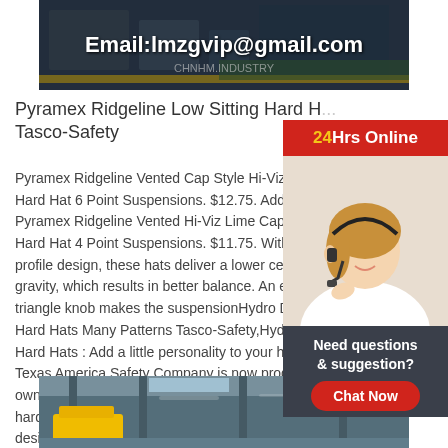[Figure (photo): Top image showing industrial/warehouse setting with Email:lmzgvip@gmail.com overlay text]
Pyramex Ridgeline Low Sitting Hard H... Tasco-Safety
Pyramex Ridgeline Vented Cap Style Hi-Viz Hard Hat 6 Point Suspensions. $12.75. Add Pyramex Ridgeline Vented Hi-Viz Lime Cap Hard Hat 4 Point Suspensions. $11.75. With profile design, these hats deliver a lower center of gravity, which results in better balance. An easy triangle knob makes the suspensionHydro Dipped Hard Hats Many Patterns Tasco-Safety,Hydro Dipped Hard Hats : Add a little personality to your hard hat. Texas America Safety Company is now producing its own line of hydro dipped hard hats. Each one of these hard hats are hand dipped with a one of a kind custom design. Feel free to take a look and see if there is a design you like.
[Figure (photo): Bottom image showing industrial warehouse interior with yellow equipment]